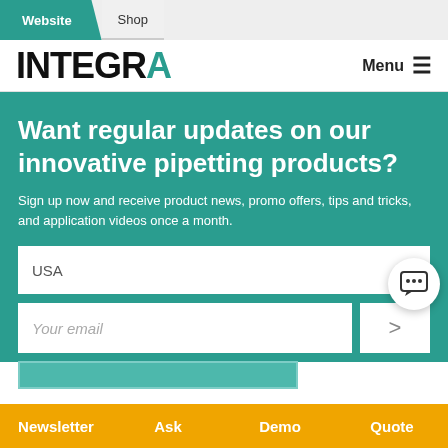Website | Shop
[Figure (logo): INTEGRA logo in black with teal A accent, plus Menu button]
Want regular updates on our innovative pipetting products?
Sign up now and receive product news, promo offers, tips and tricks, and application videos once a month.
USA (form field)
Your email (form field with submit arrow)
Newsletter | Ask | Demo | Quote